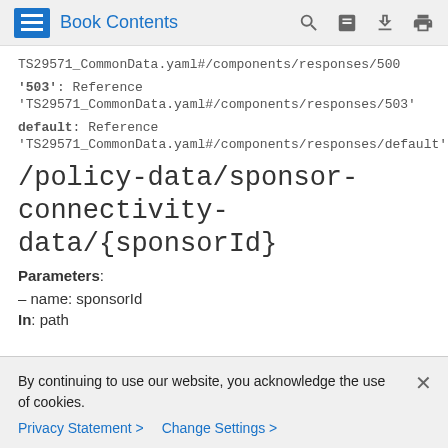Book Contents
TS29571_CommonData.yaml#/components/responses/500
'503': Reference 'TS29571_CommonData.yaml#/components/responses/503'
default: Reference 'TS29571_CommonData.yaml#/components/responses/default'
/policy-data/sponsor-connectivity-data/{sponsorId}
Parameters:
- name: sponsorId
In: path
By continuing to use our website, you acknowledge the use of cookies.
Privacy Statement > Change Settings >